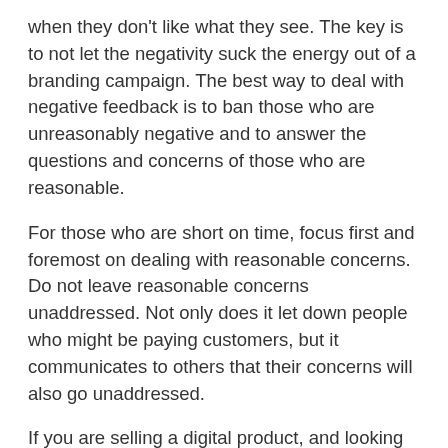when they don't like what they see. The key is to not let the negativity suck the energy out of a branding campaign. The best way to deal with negative feedback is to ban those who are unreasonably negative and to answer the questions and concerns of those who are reasonable.
For those who are short on time, focus first and foremost on dealing with reasonable concerns. Do not leave reasonable concerns unaddressed. Not only does it let down people who might be paying customers, but it communicates to others that their concerns will also go unaddressed.
If you are selling a digital product, and looking for alternative ways of getting sales, then check out this article at Codester.com, which runs through a few ways of doing that. If you enjoyed this post, why not check out this article on Using Instagram for your business!
Post by the team at Moncherry - Digital Coach...